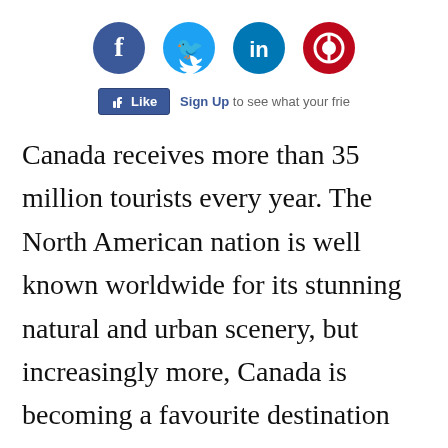[Figure (infographic): Social media icons row: Facebook (dark blue circle), Twitter (light blue circle), LinkedIn (blue circle), Pinterest (red circle)]
[Figure (screenshot): Facebook Like button with 'Sign Up to see what your frie' text]
Canada receives more than 35 million tourists every year. The North American nation is well known worldwide for its stunning natural and urban scenery, but increasingly more, Canada is becoming a favourite destination among water sports lovers. Read on if you are